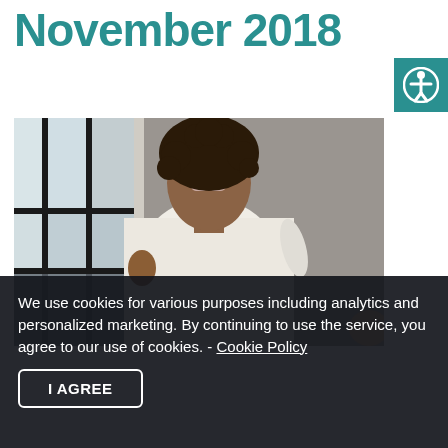November 2018
[Figure (photo): A Black woman with curly hair and glasses wearing a white long-sleeve shirt, standing near a window with her hand on the wall, in an office or indoor setting. Another person's hand is visible in the lower right corner.]
We use cookies for various purposes including analytics and personalized marketing. By continuing to use the service, you agree to our use of cookies. - Cookie Policy
I AGREE